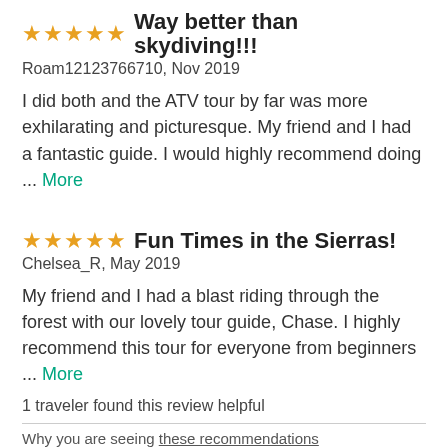Way better than skydiving!!!
Roam12123766710, Nov 2019
I did both and the ATV tour by far was more exhilarating and picturesque. My friend and I had a fantastic guide. I would highly recommend doing ... More
Fun Times in the Sierras!
Chelsea_R, May 2019
My friend and I had a blast riding through the forest with our lovely tour guide, Chase. I highly recommend this tour for everyone from beginners ... More
1 traveler found this review helpful
Why you are seeing these recommendations